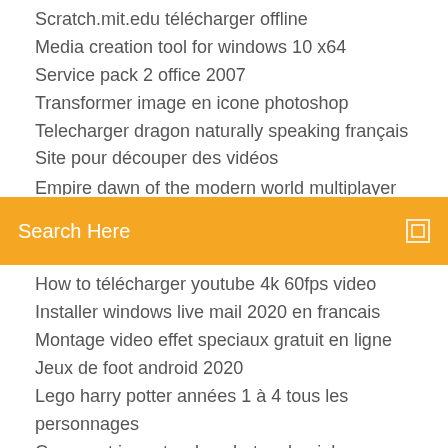Scratch.mit.edu télécharger offline
Media creation tool for windows 10 x64
Service pack 2 office 2007
Transformer image en icone photoshop
Telecharger dragon naturally speaking français
Site pour découper des vidéos
Empire dawn of the modern world multiplayer (partially visible)
[Figure (screenshot): Orange search bar with text 'Search Here' and a small square icon on the right]
How to télécharger youtube 4k 60fps video
Installer windows live mail 2020 en francais
Montage video effet speciaux gratuit en ligne
Jeux de foot android 2020
Lego harry potter années 1 à 4 tous les personnages
Comment importer des photos dun iphone vers un pc
Halo the master chief collection pc télécharger
March of empires hack pc 2020
Jeux des sims 3 gratuit sur ordinateur
Comment enlever une personne dune photo avec